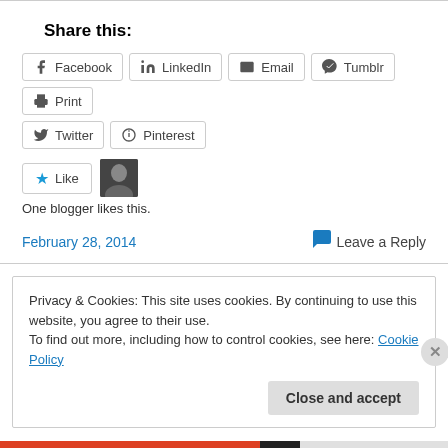Share this:
Facebook
LinkedIn
Email
Tumblr
Print
Twitter
Pinterest
One blogger likes this.
February 28, 2014
Leave a Reply
Privacy & Cookies: This site uses cookies. By continuing to use this website, you agree to their use. To find out more, including how to control cookies, see here: Cookie Policy
Close and accept